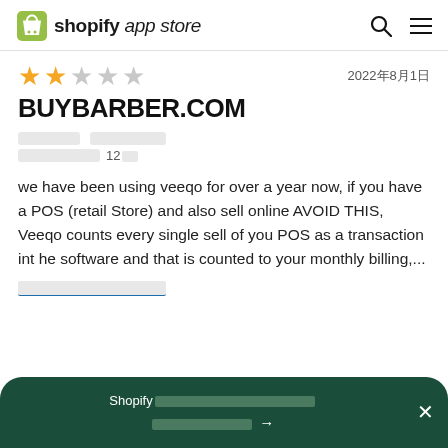shopify app store
2022年8月1日
BUYBARBER.COM
（reviewer metadata redacted）使用期間 12個月
we have been using veeqo for over a year now, if you have a POS (retail Store) and also sell online AVOID THIS, Veeqo counts every single sell of you POS as a transaction int he software and that is counted to your monthly billing,...
（read more link redacted）
Shopify（redacted banner text）→